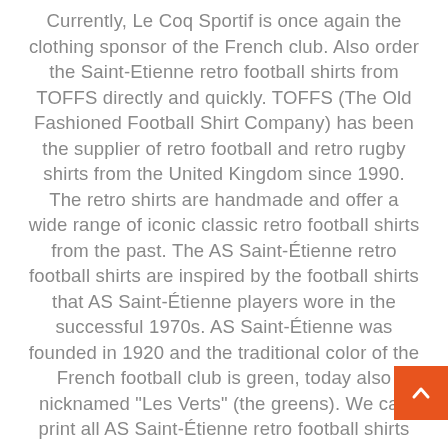Currently, Le Coq Sportif is once again the clothing sponsor of the French club. Also order the Saint-Etienne retro football shirts from TOFFS directly and quickly. TOFFS (The Old Fashioned Football Shirt Company) has been the supplier of retro football and retro rugby shirts from the United Kingdom since 1990. The retro shirts are handmade and offer a wide range of iconic classic retro football shirts from the past. The AS Saint-Étienne retro football shirts are inspired by the football shirts that AS Saint-Étienne players wore in the successful 1970s. AS Saint-Étienne was founded in 1920 and the traditional color of the French football club is green, today also nicknamed "Les Verts" (the greens). We can print all AS Saint-Étienne retro football shirts with your own name and number or that of your favorite player. For this we use a unique printing, which is inspired by the printing of the past. Some famous former players who played for AS Saint-Étienne are Johnny Rep, Aubameyang, Revelli,